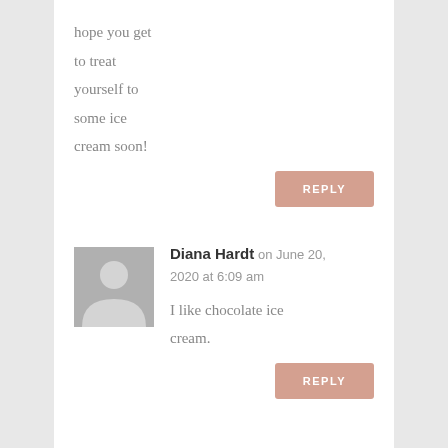hope you get to treat yourself to some ice cream soon!
REPLY
Diana Hardt on June 20, 2020 at 6:09 am
I like chocolate ice cream.
REPLY